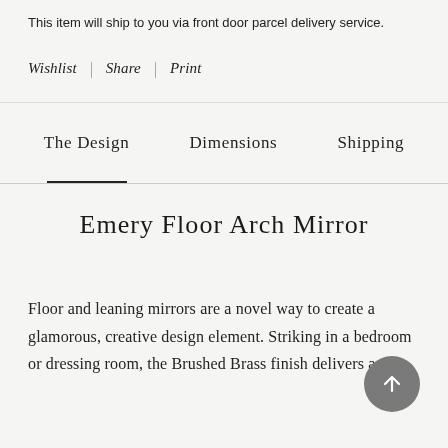This item will ship to you via front door parcel delivery service.
Wishlist | Share | Print
The Design	Dimensions	Shipping
Emery Floor Arch Mirror
Floor and leaning mirrors are a novel way to create a glamorous, creative design element. Striking in a bedroom or dressing room, the Brushed Brass finish delivers a